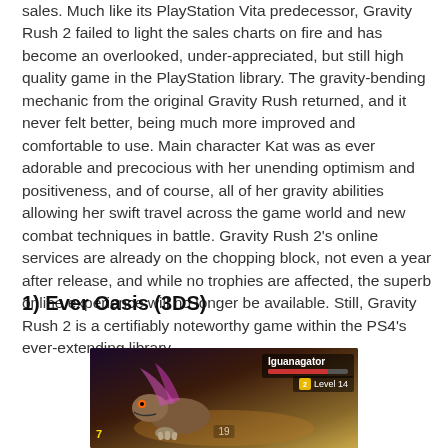sales. Much like its PlayStation Vita predecessor, Gravity Rush 2 failed to light the sales charts on fire and has become an overlooked, under-appreciated, but still high quality game in the PlayStation library. The gravity-bending mechanic from the original Gravity Rush returned, and it never felt better, being much more improved and comfortable to use. Main character Kat was as ever adorable and precocious with her unending optimism and positiveness, and of course, all of her gravity abilities allowing her swift travel across the game world and new combat techniques in battle. Gravity Rush 2's online services are already on the chopping block, not even a year after release, and while no trophies are affected, the superb online experience will no longer be available. Still, Gravity Rush 2 is a certifiably noteworthy game within the PS4's ever-extending library.
1) Ever Oasis (3DS)
[Figure (screenshot): Game screenshot from Ever Oasis (3DS) showing a creature called Iguanagator at Level 14, with a red HP bar displayed in the top right corner, and the number 19 at the bottom center. The scene shows a 3D environment with warm brown/golden background tones and a creature with claws visible.]